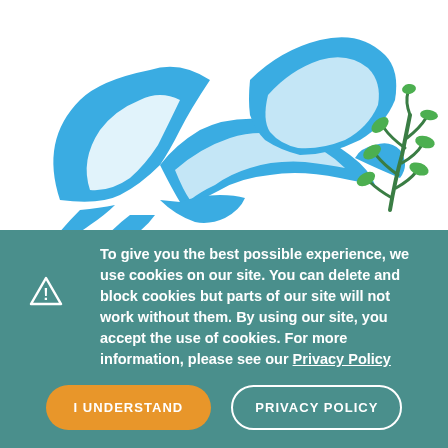[Figure (illustration): Blue dove in flight carrying a green olive branch, rendered as a stylized logo illustration on white background]
To give you the best possible experience, we use cookies on our site. You can delete and block cookies but parts of our site will not work without them. By using our site, you accept the use of cookies. For more information, please see our Privacy Policy